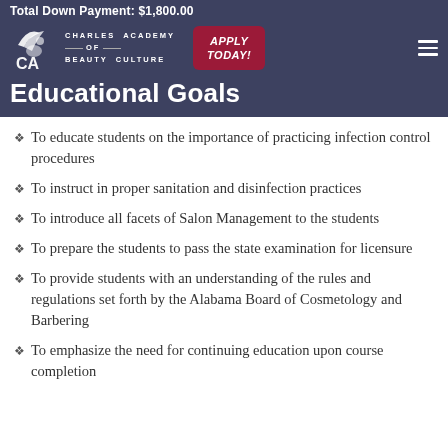Total Down Payment: $1,800.00
Educational Goals
To educate students on the importance of practicing infection control procedures
To instruct in proper sanitation and disinfection practices
To introduce all facets of Salon Management to the students
To prepare the students to pass the state examination for licensure
To provide students with an understanding of the rules and regulations set forth by the Alabama Board of Cosmetology and Barbering
To emphasize the need for continuing education upon course completion